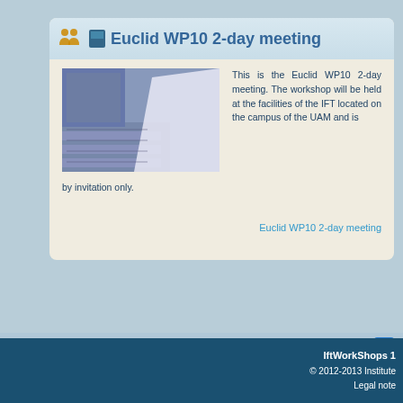Euclid WP10 2-day meeting
[Figure (photo): A photo showing conference/auditorium seating with blue/purple tones, a large white shape in the foreground.]
This is the Euclid WP10 2-day meeting. The workshop will be held at the facilities of the IFT located on the campus of the UAM and is by invitation only.
Euclid WP10 2-day meeting
IftWorkShops 1
© 2012-2013 Institute
Legal note